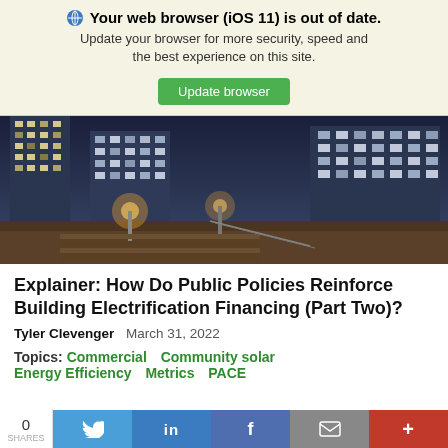Your web browser (iOS 11) is out of date. Update your browser for more security, speed and the best experience on this site. Update browser
[Figure (photo): Nighttime photo of modern apartment or commercial buildings with warm street lighting and a paved walkway in the foreground]
Explainer: How Do Public Policies Reinforce Building Electrification Financing (Part Two)?
Tyler Clevenger   March 31, 2022
Topics: Commercial   Community solar   Energy Efficiency   Metrics   PACE
0 SHARES  [Twitter] [LinkedIn] [Facebook] [Email] [More]